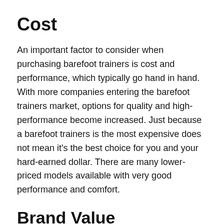Cost
An important factor to consider when purchasing barefoot trainers is cost and performance, which typically go hand in hand. With more companies entering the barefoot trainers market, options for quality and high-performance become increased. Just because a barefoot trainers is the most expensive does not mean it’s the best choice for you and your hard-earned dollar. There are many lower-priced models available with very good performance and comfort.
Brand Value
Choose the barefoot trainers from the brand…